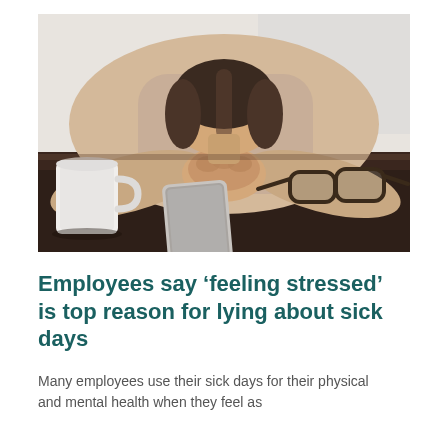[Figure (photo): A woman with her head resting face-down on folded hands on a dark wooden table. A white coffee mug is on the left, a smartphone face-down in the center, and a pair of glasses on the right. She is wearing a light cream/white sweater with her hair pulled back.]
Employees say 'feeling stressed' is top reason for lying about sick days
Many employees use their sick days for their physical and mental health when they feel as